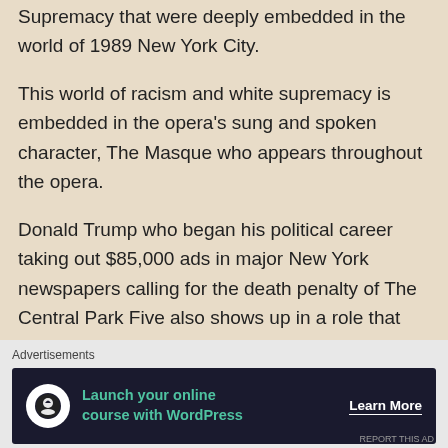Supremacy that were deeply embedded in the world of 1989 New York City.
This world of racism and white supremacy is embedded in the opera's sung and spoken character, The Masque who appears throughout the opera.
Donald Trump who began his political career taking out $85,000 ads in major New York newspapers calling for the death penalty of The Central Park Five also shows up in a role that represents not only the nemesis of the youth but additionally represents a clairvoyance for white nationalist ideas that
Advertisements
[Figure (other): Advertisement banner with dark background showing 'Launch your online course with WordPress' with a tree/person icon and 'Learn More' call to action button]